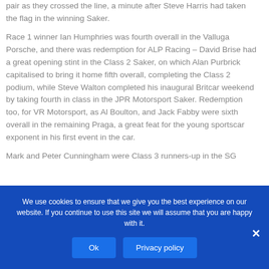pair as they crossed the line, a minute after Steve Harris had taken the flag in the winning Saker.
Race 1 winner Ian Humphries was fourth overall in the Valluga Porsche, and there was redemption for ALP Racing – David Brise had a great opening stint in the Class 2 Saker, on which Alan Purbrick capitalised to bring it home fifth overall, completing the Class 2 podium, while Steve Walton completed his inaugural Britcar weekend by taking fourth in class in the JPR Motorsport Saker. Redemption too, for VR Motorsport, as Al Boulton, and Jack Fabby were sixth overall in the remaining Praga, a great feat for the young sportscar exponent in his first event in the car.
Mark and Peter Cunningham were Class 3 runners-up in the SG
We use cookies to ensure that we give you the best experience on our website. If you continue to use this site we will assume that you are happy with it.